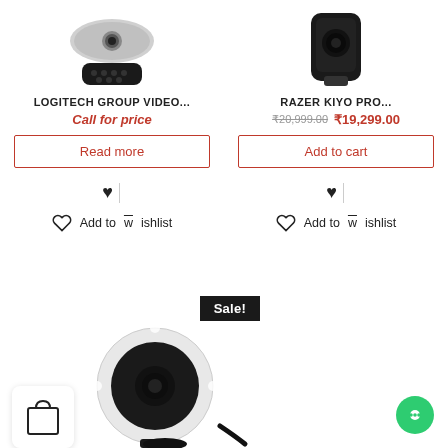[Figure (photo): Logitech Group video conferencing device with remote control, partially visible at top]
[Figure (photo): Razer Kiyo Pro webcam, black, partially visible at top right]
LOGITECH GROUP VIDEO...
Call for price
Read more
Add to wishlist
RAZER KIYO PRO...
₹20,999.00  ₹19,299.00
Add to cart
Add to wishlist
Sale!
[Figure (photo): Razer Kiyo webcam with ring light, black, shown with shopping bag icon overlay]
Add to wishlist